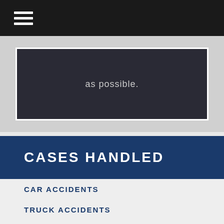[Figure (screenshot): Dark navigation bar with hamburger menu icon at top of mobile website]
[Figure (photo): Dark photo with text 'as possible.' visible, partial screenshot of a law firm website hero image]
CASES HANDLED
CAR ACCIDENTS
TRUCK ACCIDENTS
MOTORCYCLE ACCIDENTS
MEDICAL MALPRACTICE
BRAIN INJURIES
SLIP/TRIP AND FALL